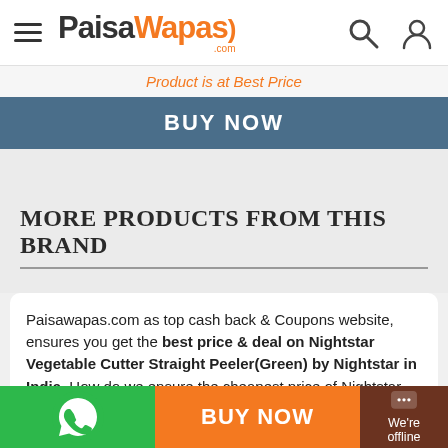PaisaWapas.com
Product is at Best Price
BUY NOW
MORE PRODUCTS FROM THIS BRAND
Paisawapas.com as top cash back & Coupons website, ensures you get the best price & deal on Nightstar Vegetable Cutter Straight Peeler(Green) by Nightstar in India. How do we ensure the cheapest price of Nightstar Vegetable Cutter Straight Peeler(Green)?, well when
BUY NOW
We're offline